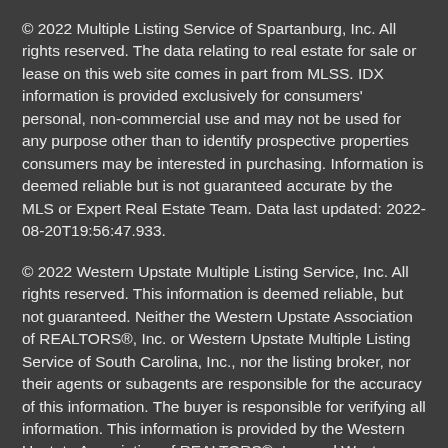© 2022 Multiple Listing Service of Spartanburg, Inc. All rights reserved. The data relating to real estate for sale or lease on this web site comes in part from MLSS. IDX information is provided exclusively for consumers' personal, non-commercial use and may not be used for any purpose other than to identify prospective properties consumers may be interested in purchasing. Information is deemed reliable but is not guaranteed accurate by the MLS or Expert Real Estate Team. Data last updated: 2022-08-20T19:56:47.933.
© 2022 Western Upstate Multiple Listing Service, Inc. All rights reserved. This information is deemed reliable, but not guaranteed. Neither the Western Upstate Association of REALTORS®, Inc. or Western Upstate Multiple Listing Service of South Carolina, Inc., nor the listing broker, nor their agents or subagents are responsible for the accuracy of this information. The buyer is responsible for verifying all information. This information is provided by the Western Upstate Association of REALTORS®, Inc. and Western Upstate Multiple Listing Service of South Carolina, Inc. for use by its members and is not intended for the use for any other purpose. The data relating to real estate for sale on this Web site comes in